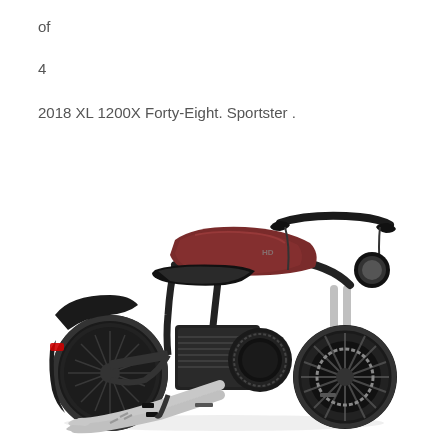of
4
2018 XL 1200X Forty-Eight. Sportster .
[Figure (photo): A 2018 Harley-Davidson XL 1200X Forty-Eight Sportster motorcycle shown in a three-quarter rear view. The motorcycle features a dark maroon/brown fuel tank, black seat, chrome exhaust pipes, black engine, and dark spoke wheels on a white background.]